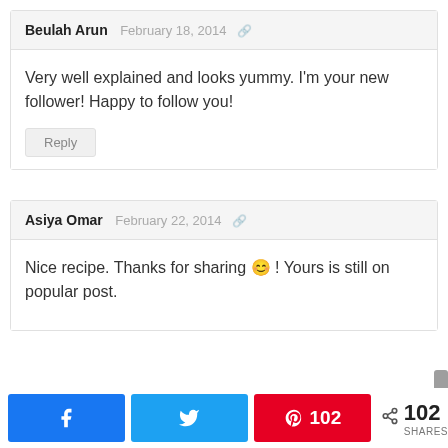Beulah Arun  February 18, 2014
Very well explained and looks yummy. I’m your new follower! Happy to follow you!
Reply
Asiya Omar  February 22, 2014
Nice recipe. Thanks for sharing 😊 ! Yours is still on popular post.
102 SHARES